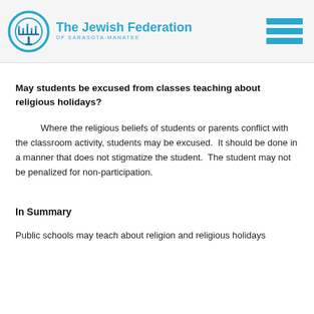The Jewish Federation OF SARASOTA-MANATEE
May students be excused from classes teaching about religious holidays?
Where the religious beliefs of students or parents conflict with the classroom activity, students may be excused.  It should be done in a manner that does not stigmatize the student.  The student may not be penalized for non-participation.
In Summary
Public schools may teach about religion and religious holidays